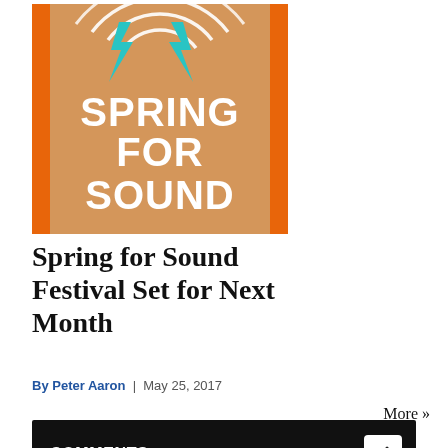[Figure (illustration): Spring for Sound festival poster. Orange background with two cyan/teal lightning bolts at top, white circular radio wave arcs, and large white bold text reading 'SPRING FOR SOUND' in the center.]
Spring for Sound Festival Set for Next Month
By Peter Aaron | May 25, 2017
More »
COMMENTS
Add a comment